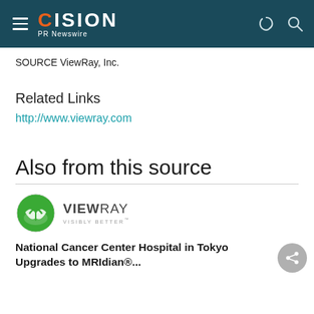CISION PR Newswire
SOURCE ViewRay, Inc.
Related Links
http://www.viewray.com
Also from this source
[Figure (logo): ViewRay logo with green circular icon and text VIEWRAY VISIBLY BETTER]
National Cancer Center Hospital in Tokyo Upgrades to MRIdian®...